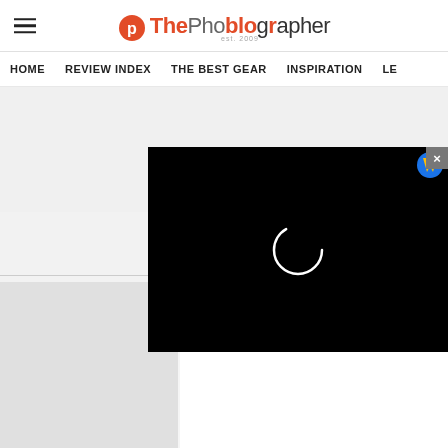ThePhoblographer – est. 2009
[Figure (screenshot): Website navigation bar with links: HOME, REVIEW INDEX, THE BEST GEAR, INSPIRATION, LE... (truncated)]
[Figure (screenshot): Gray advertisement placeholder area above a black video player overlay with a loading spinner circle and a V badge icon in the top right, and an X close button]
[Figure (screenshot): Lower section of website showing a thumbnail image placeholder on the left and white content area on the right]